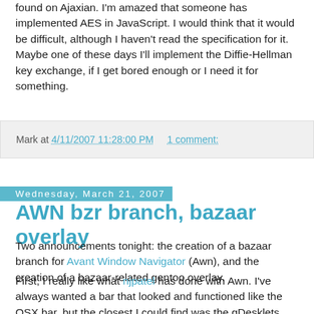found on Ajaxian. I'm amazed that someone has implemented AES in JavaScript. I would think that it would be difficult, although I haven't read the specification for it. Maybe one of these days I'll implement the Diffie-Hellman key exchange, if I get bored enough or I need it for something.
Mark at 4/11/2007 11:28:00 PM    1 comment:
Wednesday, March 21, 2007
AWN bzr branch, bazaar overlay
Two announcements tonight: the creation of a bazaar branch for Avant Window Navigator (Awn), and the creation of a bazaar-related gentoo overlay.
First, I really like what njpatel has done with Awn. I've always wanted a bar that looked and functioned like the OSX bar, but the closest I could find was the gDesklets starterbar, and it didn't handle currently running programs. Awn is just plain awesome. Unfortunately, I don't use Gnome on my desktop